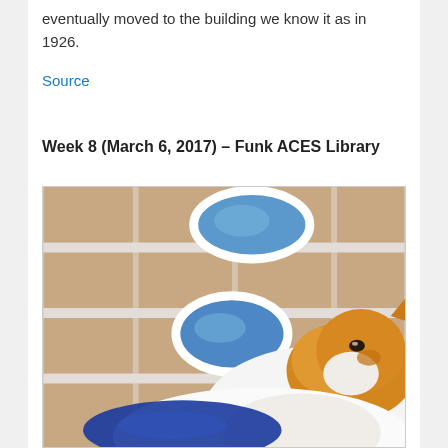eventually moved to the building we know it as in 1926.
Source
Week 8 (March 6, 2017) – Funk ACES Library
[Figure (photo): A photo of a fluffy orange and white cat sitting on a floor with brown/tan tiles. The cat is looking to the right. On the floor around the cat are blue oval/circle shapes (possibly stickers or markers). The bottom of the image shows the cat's white chest and a blue oval beneath it.]